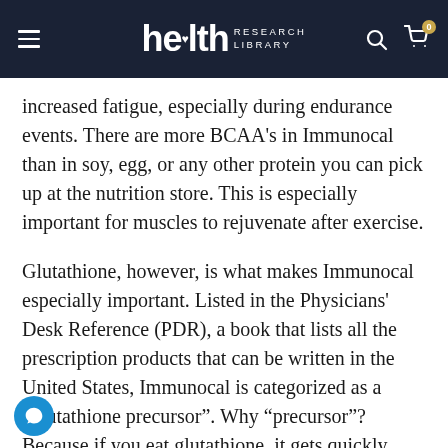health RESEARCH LIBRARY
increased fatigue, especially during endurance events. There are more BCAA's in Immunocal than in soy, egg, or any other protein you can pick up at the nutrition store. This is especially important for muscles to rejuvenate after exercise.
Glutathione, however, is what makes Immunocal especially important. Listed in the Physicians' Desk Reference (PDR), a book that lists all the prescription products that can be written in the United States, Immunocal is categorized as a “glutathione precursor”. Why “precursor”? Because if you eat glutathione, it gets quickly digested and never makes it into you cells. The only way to raise your body’s